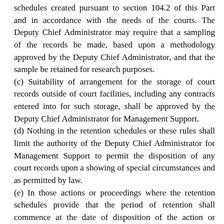schedules created pursuant to section 104.2 of this Part and in accordance with the needs of the courts. The Deputy Chief Administrator may require that a sampling of the records be made, based upon a methodology approved by the Deputy Chief Administrator, and that the sample be retained for research purposes.
(c) Suitability of arrangement for the storage of court records outside of court facilities, including any contracts entered into for such storage, shall be approved by the Deputy Chief Administrator for Management Support.
(d) Nothing in the retention schedules or these rules shall limit the authority of the Deputy Chief Administrator for Management Support to permit the disposition of any court records upon a showing of special circumstances and as permitted by law.
(e) In those actions or proceedings where the retention schedules provide that the period of retention shall commence at the date of disposition of the action or proceeding, where the clerk of any court has opened a case file for such action or proceeding, and where a continuous